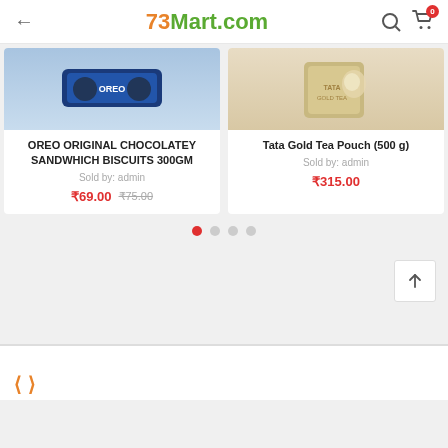73Mart.com
[Figure (screenshot): Oreo Original Chocolatey Sandwhich Biscuits 300GM product image - blue packaging]
OREO ORIGINAL CHOCOLATEY SANDWHICH BISCUITS 300GM
Sold by: admin
₹69.00 ₹75.00
[Figure (screenshot): Tata Gold Tea Pouch (500 g) product image - cream/tan colored tin]
Tata Gold Tea Pouch (500 g)
Sold by: admin
₹315.00
[Figure (other): Carousel pagination dots - 4 dots, first active (red)]
[Figure (other): Scroll to top button with upward arrow]